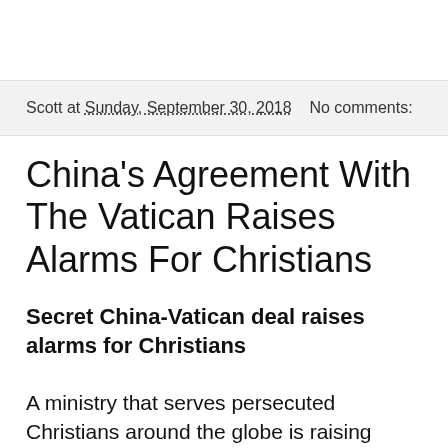Scott at Sunday, September 30, 2018   No comments:
China's Agreement With The Vatican Raises Alarms For Christians
Secret China-Vatican deal raises alarms for Christians
A ministry that serves persecuted Christians around the globe is raising alarms about a new deal between China and the Vatican.